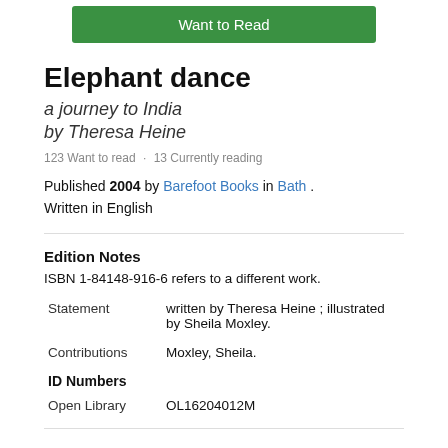Want to Read
Elephant dance
a journey to India
by Theresa Heine
123 Want to read · 13 Currently reading
Published 2004 by Barefoot Books in Bath . Written in English
Edition Notes
ISBN 1-84148-916-6 refers to a different work.
Statement    written by Theresa Heine ; illustrated by Sheila Moxley.
Contributions Moxley, Sheila.
ID Numbers
Open Library OL16204012M